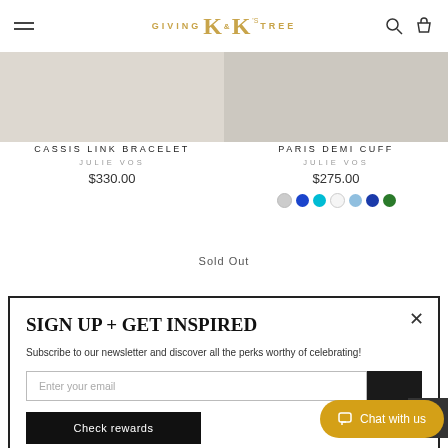Giving K&K's Tree — navigation bar with hamburger menu, logo, search and cart icons
CASSIS LINK BRACELET
JULIE VOS
$330.00
PARIS DEMI CUFF
JULIE VOS
$275.00
Sold Out
SIGN UP + GET INSPIRED
Subscribe to our newsletter and discover all the perks worthy of celebrating!
Enter your email
Check rewards
Chat with us